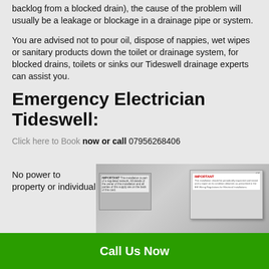backlog from a blocked drain), the cause of the problem will usually be a leakage or blockage in a drainage pipe or system.
You are advised not to pour oil, dispose of nappies, wet wipes or sanitary products down the toilet or drainage system, for blocked drains, toilets or sinks our Tideswell drainage experts can assist you.
Emergency Electrician Tideswell:
Click here to Book now or call 07956268406
No power to property or individual
[Figure (photo): Photograph of an electrical consumer unit/fuse box with IMPORTANT label stickers visible]
Call Us Now